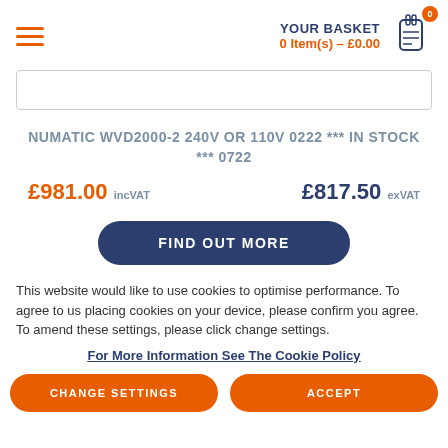YOUR BASKET 0 Item(s) – £0.00
NUMATIC WVD2000-2 240V OR 110V 0222 *** IN STOCK *** 0722
£981.00 incVAT   £817.50 exVAT
FIND OUT MORE
This website would like to use cookies to optimise performance. To agree to us placing cookies on your device, please confirm you agree. To amend these settings, please click change settings.
For More Information See The Cookie Policy
CHANGE SETTINGS   ACCEPT